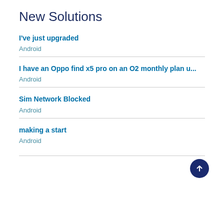New Solutions
I've just upgraded
Android
I have an Oppo find x5 pro on an O2 monthly plan u...
Android
Sim Network Blocked
Android
making a start
Android